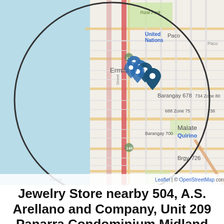[Figure (map): Interactive map showing Manila area (Ermita, Malate, Paco, Rizal Park, Barangay 678, 688 Zone 75, 700, 726, 734 Zone 80, Vito Cruz) with multiple blue map pin markers clustered near Ermita/United Nations area. A large circular magnifier overlay highlights the central map area. Bottom bar shows 'Leaflet | © OpenStreetMap contributors'.]
Jewelry Store nearby 504, A.S. Arellano and Company, Unit 209 Panarra Condominium Midland